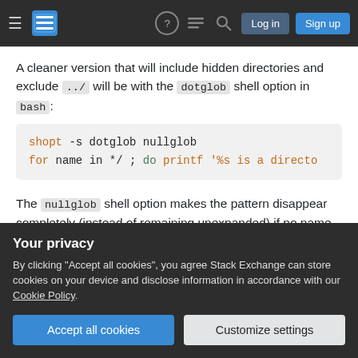Stack Exchange navigation bar with hamburger menu, logo, help, chat, search icons, Log in and Sign up buttons
A cleaner version that will include hidden directories and exclude ../ will be with the dotglob shell option in bash:
[Figure (screenshot): Code block showing: shopt -s dotglob nullglob
for name in */ ; do printf '%s is a directo]
The nullglob shell option makes the pattern disappear completely (instead of remaining unexpanded) if no name matches it. (Use the
Your privacy
By clicking "Accept all cookies", you agree Stack Exchange can store cookies on your device and disclose information in accordance with our Cookie Policy.
Accept all cookies  Customize settings